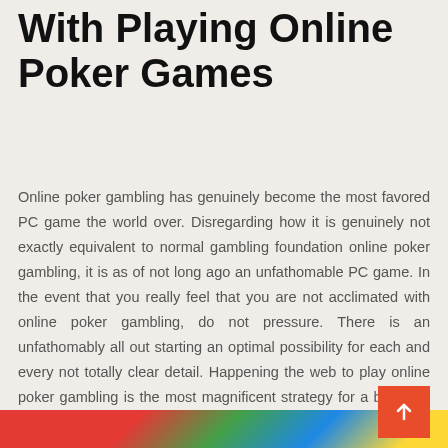With Playing Online Poker Games
Online poker gambling has genuinely become the most favored PC game the world over. Disregarding how it is genuinely not exactly equivalent to normal gambling foundation online poker gambling, it is as of not long ago an unfathomable PC game. In the event that you really feel that you are not acclimated with online poker gambling, do not pressure. There is an unfathomably all out starting an optimal possibility for each and every not totally clear detail. Happening the web to play online poker gambling is the most magnificent strategy for a beginner to get a handle on the round of online poker gambling. It is inside and out less spending satisfying than playing in online gambling website and also online poker gambling spaces offer educational exercises to course amateurs concerning the PC game.
[Figure (photo): Colorful image strip at the bottom of the page showing a partial view of a scene]